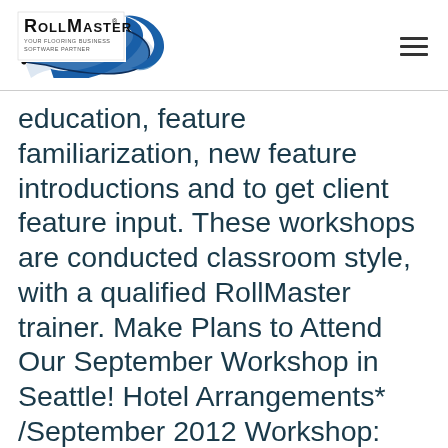[Figure (logo): RollMaster logo with blue swoosh graphic and tagline 'Your Flooring Business Software Partner']
education, feature familiarization, new feature introductions and to get client feature input. These workshops are conducted classroom style, with a qualified RollMaster trainer. Make Plans to Attend Our September Workshop in Seattle! Hotel Arrangements* /September 2012 Workshop: We have a special room rate of